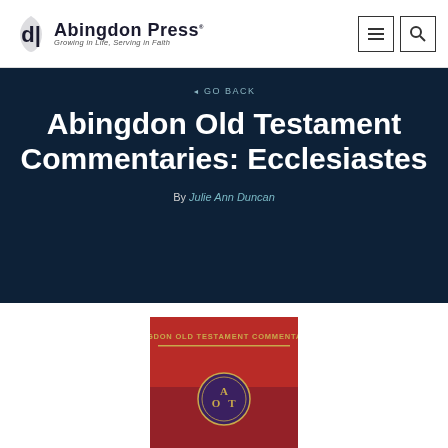Abingdon Press — Growing in Life, Serving in Faith
◄ GO BACK
Abingdon Old Testament Commentaries: Ecclesiastes
By Julie Ann Duncan
[Figure (illustration): Book cover for Abingdon Old Testament Commentaries: Ecclesiastes, red background with gold AOT logo and text ABINGDON OLD TESTAMENT COMMENTARIES at top]